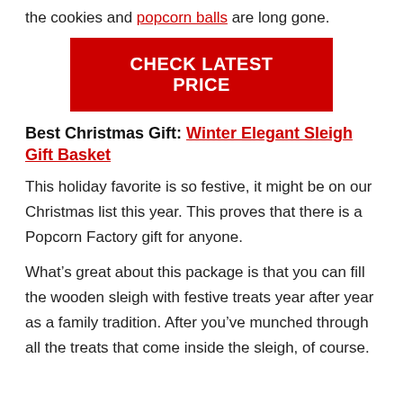the cookies and popcorn balls are long gone.
[Figure (other): Red button with white bold text: CHECK LATEST PRICE]
Best Christmas Gift: Winter Elegant Sleigh Gift Basket
This holiday favorite is so festive, it might be on our Christmas list this year. This proves that there is a Popcorn Factory gift for anyone.
What’s great about this package is that you can fill the wooden sleigh with festive treats year after year as a family tradition. After you’ve munched through all the treats that come inside the sleigh, of course.